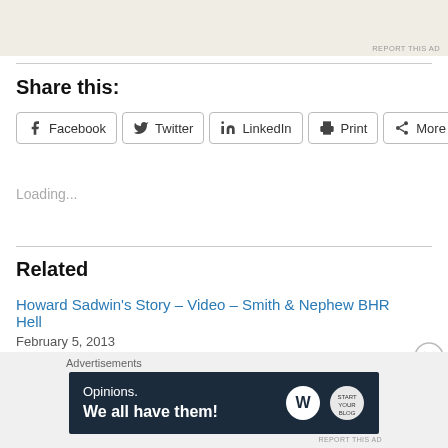[Figure (screenshot): Partial advertisement image at top of page with beige background showing app/magazine mockups]
REPORT THIS AD
Share this:
Facebook  Twitter  LinkedIn  Print  More
Loading...
Related
Howard Sadwin's Story – Video – Smith & Nephew BHR Hell
February 5, 2013
In "Birmingham Hip Resurfacing"
[Figure (screenshot): Advertisement banner: Opinions. We all have them! with WordPress logo]
Advertisements
REPORT THIS AD